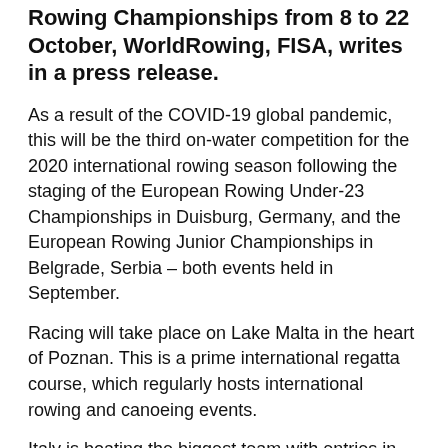Rowing Championships from 8 to 22 October, WorldRowing, FISA, writes in a press release.
As a result of the COVID-19 global pandemic, this will be the third on-water competition for the 2020 international rowing season following the staging of the European Rowing Under-23 Championships in Duisburg, Germany, and the European Rowing Junior Championships in Belgrade, Serbia – both events held in September.
Racing will take place on Lake Malta in the heart of Poznan. This is a prime international regatta course, which regularly hosts international rowing and canoeing events.
Italy is boating the biggest team with entries in 21 out of the 22 boat classes. Germany and Netherlands will also send large teams with entries in, respectively, 19 and 17 boat classes.